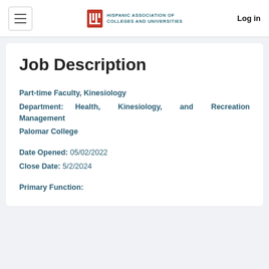HISPANIC ASSOCIATION OF COLLEGES AND UNIVERSITIES | Log in
Job Description
Part-time Faculty, Kinesiology
Department: Health, Kinesiology, and Recreation Management
Palomar College
Date Opened: 05/02/2022
Close Date: 5/2/2024
Primary Function: